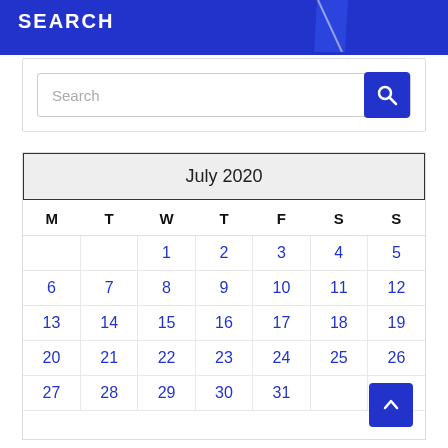SEARCH
Search
| M | T | W | T | F | S | S |
| --- | --- | --- | --- | --- | --- | --- |
|  |  | 1 | 2 | 3 | 4 | 5 |
| 6 | 7 | 8 | 9 | 10 | 11 | 12 |
| 13 | 14 | 15 | 16 | 17 | 18 | 19 |
| 20 | 21 | 22 | 23 | 24 | 25 | 26 |
| 27 | 28 | 29 | 30 | 31 |  |  |